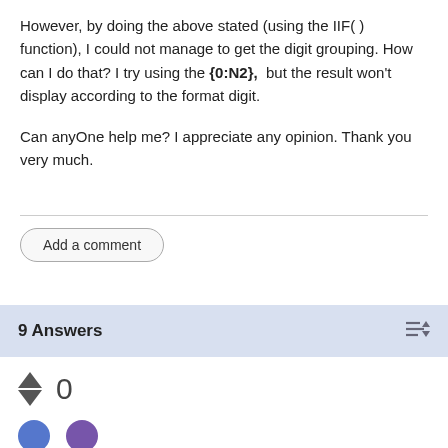However, by doing the above stated (using the IIF( ) function), I could not manage to get the digit grouping. How can I do that? I try using the {0:N2},  but the result won't display according to the format digit.
Can anyOne help me? I appreciate any opinion. Thank you very much.
Add a comment
9 Answers
0